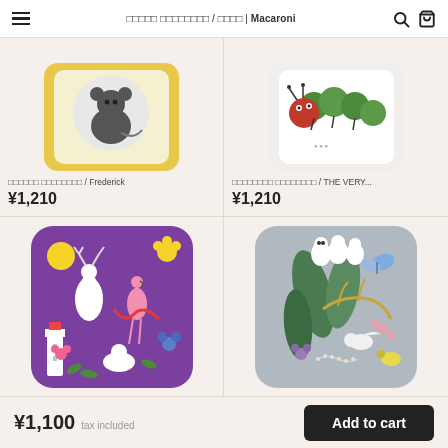□□□□□ □□□□□□□□ / □□□□ | Macaroni
[Figure (photo): Top-left product: compact mirror with illustrated mouse on yellow background / Frederick]
□□□□□□ □□□□□□□□ / Frederick
¥1,210
[Figure (photo): Top-right product: compact mirror with illustrated caterpillar on white background / THE VERY...]
□□□□□□□□ □□□□□□□□ / THE VERY...
¥1,210
[Figure (photo): Bottom-left product: compact mirror with purple background featuring white deer, pink flamingo, lighthouse, and floral illustrations]
[Figure (photo): Bottom-right product: compact mirror with gray background featuring botanical and bird illustrations]
¥1,100  tax included
Add to cart